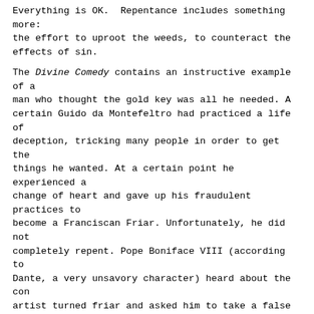Everything is OK.  Repentance includes something more: the effort to uproot the weeds, to counteract the effects of sin.
The Divine Comedy contains an instructive example of a man who thought the gold key was all he needed. A certain Guido da Montefeltro had practiced a life of deception, tricking many people in order to get the things he wanted. At a certain point he experienced a change of heart and gave up his fraudulent practices to become a Franciscan Friar. Unfortunately, he did not completely repent. Pope Boniface VIII (according to Dante, a very unsavory character) heard about the con artist turned friar and asked him to take a false message to one the papal adversaries. Guido at first hesitated, but the pope offered him absolution in advance.** Apparently thinking one could even deceive God, the friar accepted. When he died, since he was a Franciscan, St. Francis came to take his soul to heaven. The devil, however, intervened pointing out that no one can receive forgiveness without repentance:
“No one has absolution
Without repenting; nor can one will a sin
And repent at once, because the contradiction
Precludes it.” (Inferno, Canto XXVII, 119-121)
The devil knows elementary logic. Guido could not say that he repents of deceiving others and at the same time continue doing it. When a defendant contradicts himself, the jury has no choice but to convict.